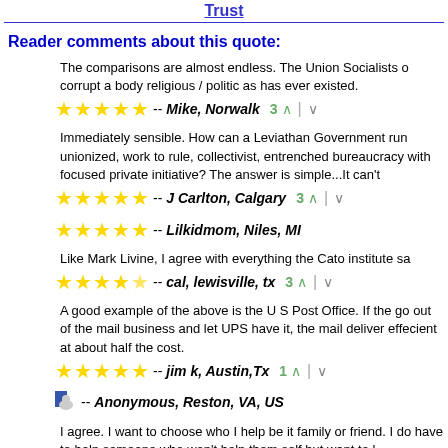Trust
Reader comments about this quote:
The comparisons are almost endless. The Union Socialists corrupt a body religious / politic as has ever existed.
-- Mike, Norwalk   3 ▲ | ▼
Immediately sensible. How can a Leviathan Government run unionized, work to rule, collectivist, entrenched bureaucracy with focused private initiative? The answer is simple...It can't
-- J Carlton, Calgary   3 ▲ | ▼
-- Lilkidmom, Niles, MI
Like Mark Livine, I agree with everything the Cato institute sa
-- cal, lewisville, tx   3 ▲ | ▼
A good example of the above is the U S Post Office. If the go out of the mail business and let UPS have it, the mail deliver effecient at about half the cost.
-- jim k, Austin,Tx   1 ▲ | ▼
-- Anonymous, Reston, VA, US
I agree. I want to choose who I help be it family or friend. I do have to help someone who won't help them self but want to l government. I believe the term most descriptive of these peo